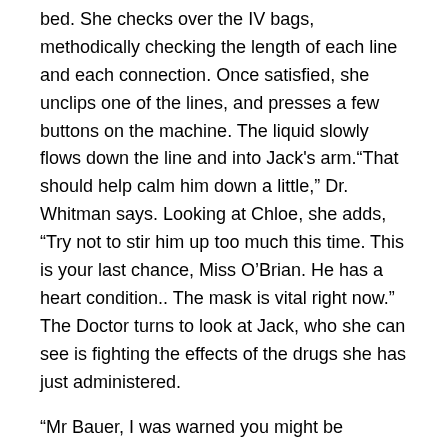bed. She checks over the IV bags, methodically checking the length of each line and each connection. Once satisfied, she unclips one of the lines, and presses a few buttons on the machine. The liquid slowly flows down the line and into Jack's arm."That should help calm him down a little," Dr. Whitman says. Looking at Chloe, she adds, "Try not to stir him up too much this time. This is your last chance, Miss O'Brian. He has a heart condition.. The mask is vital right now." The Doctor turns to look at Jack, who she can see is fighting the effects of the drugs she has just administered.
"Mr Bauer, I was warned you might be headstrong. Let's be clear here. My intention is that in due course, you will walk out of here under your own steam, not be carried out in a body bag." In one swift movement she puts Jack's arms back in the restraints.Kate nods in appreciation. Dr. Whitman walks back to the door, glances sternly back at Chloe again, and then exits the